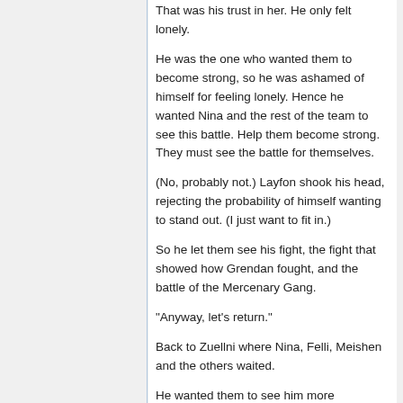That was his trust in her. He only felt lonely.
He was the one who wanted them to become strong, so he was ashamed of himself for feeling lonely. Hence he wanted Nina and the rest of the team to see this battle. Help them become strong. They must see the battle for themselves.
(No, probably not.) Layfon shook his head, rejecting the probability of himself wanting to stand out. (I just want to fit in.)
So he let them see his fight, the fight that showed how Grendan fought, and the battle of the Mercenary Gang.
"Anyway, let's return."
Back to Zuellni where Nina, Felli, Meishen and the others waited.
He wanted them to see him more